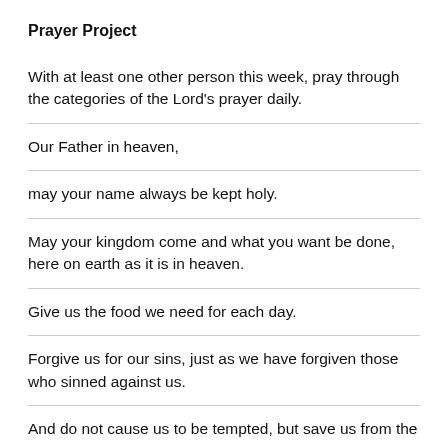Prayer Project
With at least one other person this week, pray through the categories of the Lord’s prayer daily.
Our Father in heaven,
may your name always be kept holy.
May your kingdom come and what you want be done, here on earth as it is in heaven.
Give us the food we need for each day.
Forgive us for our sins, just as we have forgiven those who sinned against us.
And do not cause us to be tempted, but save us from the